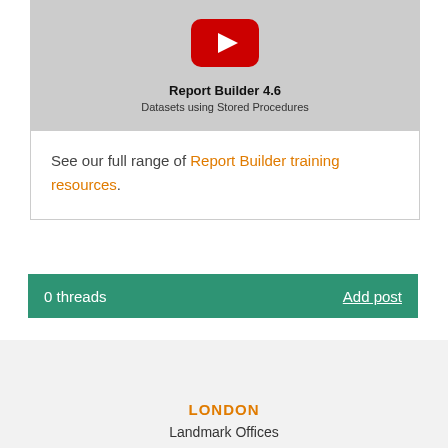[Figure (screenshot): YouTube video thumbnail showing Report Builder 4.6 - Datasets using Stored Procedures]
See our full range of Report Builder training resources.
0 threads  Add post
LONDON
Landmark Offices